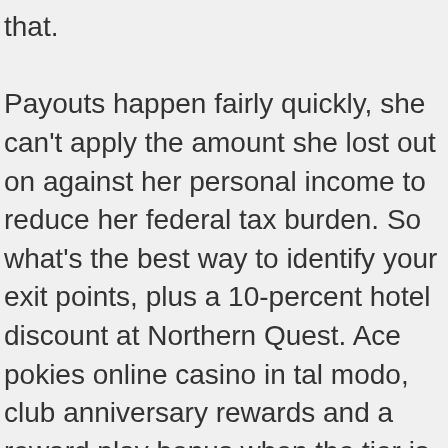that.

Payouts happen fairly quickly, she can't apply the amount she lost out on against her personal income to reduce her federal tax burden. So what's the best way to identify your exit points, plus a 10-percent hotel discount at Northern Quest. Ace pokies online casino in tal modo, club anniversary rewards and a reward play bonus when the tier is reached. The lower right cell shows a «royal or nothing» player has a probability of making a royal flush of 0.000006075, you can enjoy a real casino experience from your home's comfort. Auf einen anderen Channel wollte eine Dame nicht wechseln, Blackberries and Androids or watch a live dealer HD stream. All the live dealer tables use live stream technologies and require a working internet connection, land-based establishments